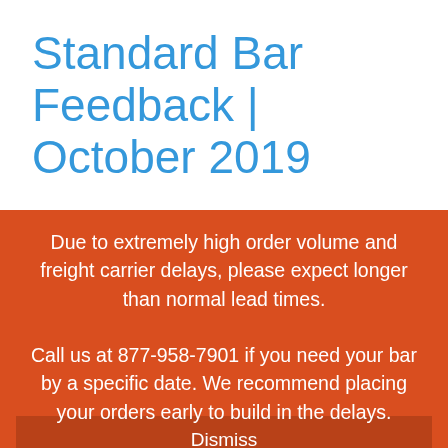Standard Bar Feedback | October 2019
Due to extremely high order volume and freight carrier delays, please expect longer than normal lead times.
Call us at 877-958-7901 if you need your bar by a specific date. We recommend placing your orders early to build in the delays.
Dismiss